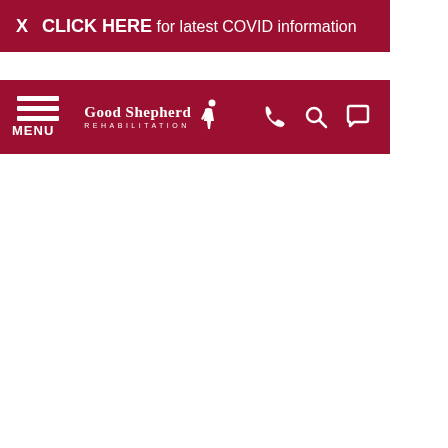X  CLICK HERE for latest COVID information
[Figure (screenshot): Good Shepherd Rehabilitation navigation bar with menu icon, logo, phone icon, search icon, and chat icon on dark red background]